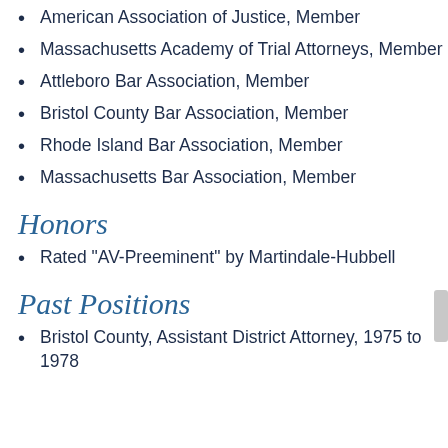American Association of Justice, Member
Massachusetts Academy of Trial Attorneys, Member
Attleboro Bar Association, Member
Bristol County Bar Association, Member
Rhode Island Bar Association, Member
Massachusetts Bar Association, Member
Honors
Rated "AV-Preeminent" by Martindale-Hubbell
Past Positions
Bristol County, Assistant District Attorney, 1975 to 1978